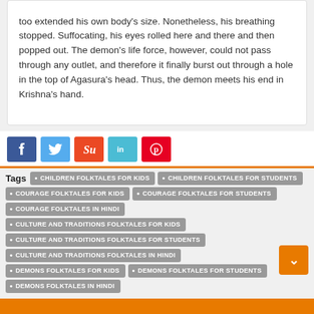too extended his own body's size. Nonetheless, his breathing stopped. Suffocating, his eyes rolled here and there and then popped out. The demon's life force, however, could not pass through any outlet, and therefore it finally burst out through a hole in the top of Agasura's head. Thus, the demon meets his end in Krishna's hand.
Tags  CHILDREN FOLKTALES FOR KIDS  CHILDREN FOLKTALES FOR STUDENTS  COURAGE FOLKTALES FOR KIDS  COURAGE FOLKTALES FOR STUDENTS  COURAGE FOLKTALES IN HINDI  CULTURE AND TRADITIONS FOLKTALES FOR KIDS  CULTURE AND TRADITIONS FOLKTALES FOR STUDENTS  CULTURE AND TRADITIONS FOLKTALES IN HINDI  DEMONS FOLKTALES FOR KIDS  DEMONS FOLKTALES FOR STUDENTS  DEMONS FOLKTALES IN HINDI